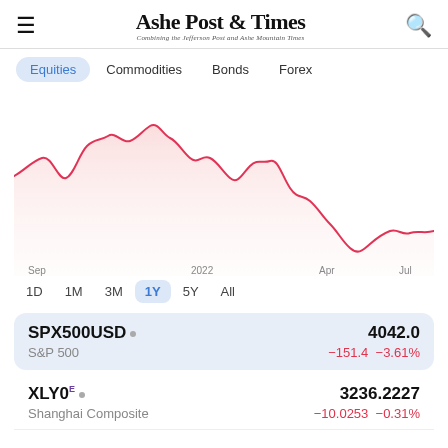Ashe Post & Times — Combining the Jefferson Post and Ashe Mountain Times
Equities | Commodities | Bonds | Forex
[Figure (continuous-plot): Line chart showing S&P 500 performance over 1 year (Sep 2021 to Jul 2022). The chart shows a rise to a peak around Jan 2022, followed by a decline with recovery attempts, reaching a low around Jun 2022, then partial recovery by Jul 2022. The line is red/pink on a light pink filled area background.]
1D  1M  3M  1Y  5Y  All
| Ticker | Name | Value | Change | % Change |
| --- | --- | --- | --- | --- |
| SPX500USD • | S&P 500 | 4042.0 | −151.4 | −3.61% |
| XLY0 E • | Shanghai Composite | 3236.2227 | −10.0253 | −0.31% |